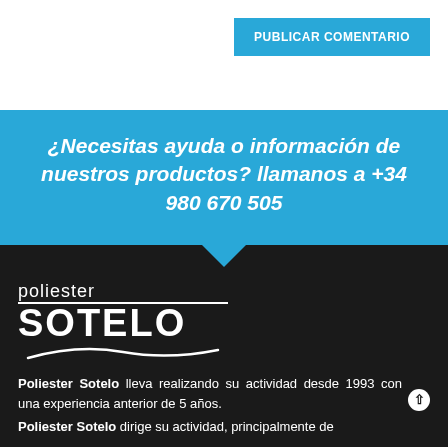[Figure (other): Button labeled PUBLICAR COMENTARIO on white background, blue button]
¿Necesitas ayuda o información de nuestros productos? llamanos a +34 980 670 505
[Figure (logo): Poliester Sotelo logo in white on black background with swoosh]
Poliester Sotelo lleva realizando su actividad desde 1993 con una experiencia anterior de 5 años.
Poliester Sotelo dirige su actividad, principalmente de